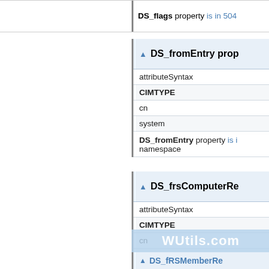DS_flags property is in 504
DS_fromEntry prop
| attributeSyntax |
| CIMTYPE |
| cn |
| system |
| DS_fromEntry property is i namespace |
DS_frsComputerRe
| attributeSyntax |
| CIMTYPE |
| cn |
| system |
| DS_frsComputerReference and in 1 namespace |
[Figure (logo): WUtils.com watermark logo]
DS_fRSMemberRe